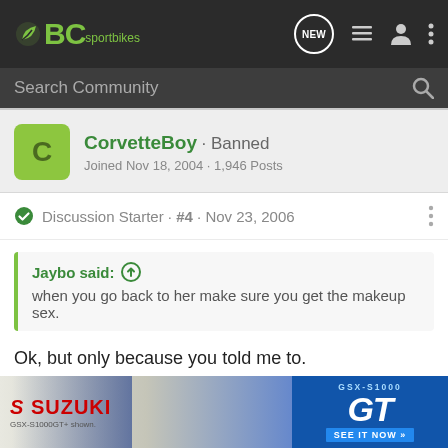BC sportbikes
Search Community
CorvetteBoy · Banned
Joined Nov 18, 2004 · 1,946 Posts
Discussion Starter · #4 · Nov 23, 2006
Jaybo said:
when you go back to her make sure you get the makeup sex.
Ok, but only because you told me to.
Team Troll Drunkard
[Figure (screenshot): Suzuki GSX-S1000GT advertisement banner showing motorcycle and GT logo with 'SEE IT NOW' button]